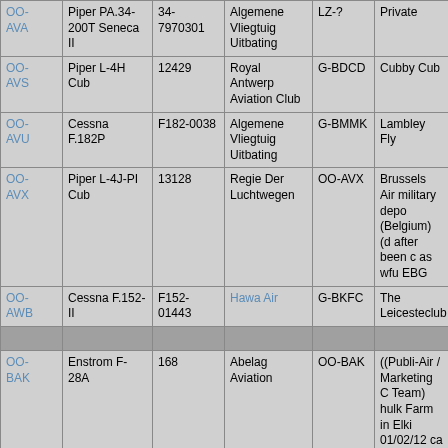| Registration | Aircraft Type | Serial | Operator | Previous Reg | Notes |
| --- | --- | --- | --- | --- | --- |
| OO-AVA | Piper PA.34-200T Seneca II | 34-7970301 | Algemene Vliegtuig Uitbating | LZ-? | Private |
| OO-AVS | Piper L-4H Cub | 12429 | Royal Antwerp Aviation Club | G-BDCD | Cubby Cub |
| OO-AVU | Cessna F.182P | F182-0038 | Algemene Vliegtuig Uitbating | G-BMMK | Lambley Fly |
| OO-AVX | Piper L-4J-PI Cub | 13128 | Regie Der Luchtwegen | OO-AVX | Brussels Air military depo (Belgium) (d after been c as wfu EBG |
| OO-AWB | Cessna F.152-II | F152-01443 | Hawa Air | G-BKFC | The Leicesteclub |
|  |  |  |  |  |  |
| OO-BAK | Enstrom F-28A | 168 | Abelag Aviation | OO-BAK | ((Publi-Air / Marketing C Team) hulk Farm in Elki 01/02/12 ca wfu |
| OO-BAM | Enstrom F-28A | 201 | Abelag Aviation | G-BMIU | (Rotor Enter when lost co hard while p CVT 09/07/8 |
| OO-BAR | Piper PA.23-160 Apache | 23-1883 | Merlin Air Trade | OO-BAR | canx 30/06/ been wfu O |